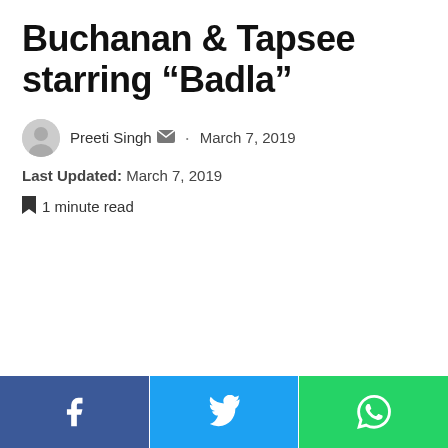Buchanan & Tapsee starring “Badla”
Preeti Singh · March 7, 2019  Last Updated: March 7, 2019
1 minute read